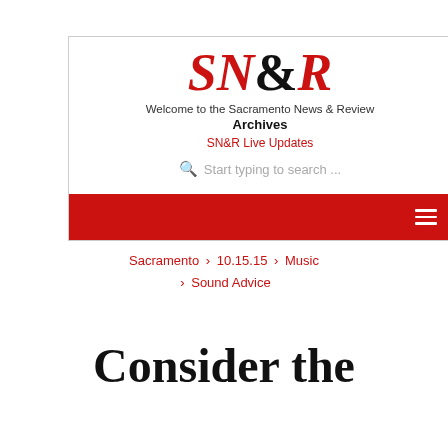[Figure (logo): SN&R logo with red italic text for SN and R, black ampersand, serif font. Below: 'Welcome to the Sacramento News & Review Archives' and red 'SN&R Live Updates' link, and a search bar with placeholder 'Start typing to search ...']
Sacramento › 10.15.15 › Music › Sound Advice
Consider the